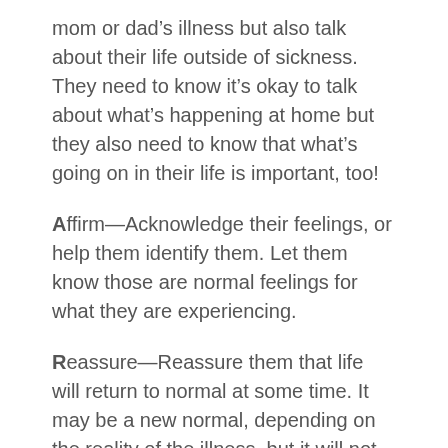mom or dad’s illness but also talk about their life outside of sickness. They need to know it’s okay to talk about what’s happening at home but they also need to know that what’s going on in their life is important, too!
Affirm—Acknowledge their feelings, or help them identify them. Let them know those are normal feelings for what they are experiencing.
Reassure—Reassure them that life will return to normal at some time. It may be a new normal, depending on the reality of the illness, but it will not always feel like it does now.